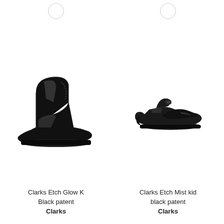[Figure (photo): Black patent leather ankle boot by Clarks, shown from the side on white background]
Clarks Etch Glow K
Black patent
Clarks
[Figure (photo): Black patent leather Mary Jane flat shoe by Clarks, shown from the side on white background]
Clarks Etch Mist kid
black patent
Clarks